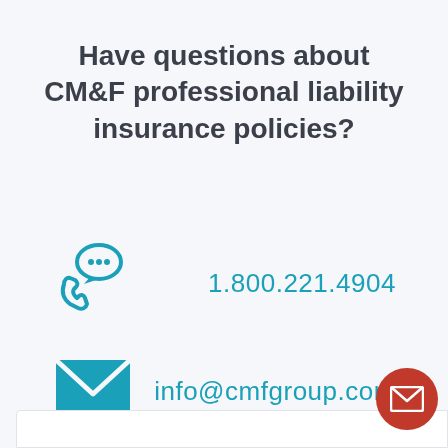Have questions about CM&F professional liability insurance policies?
1.800.221.4904
info@cmfgroup.com